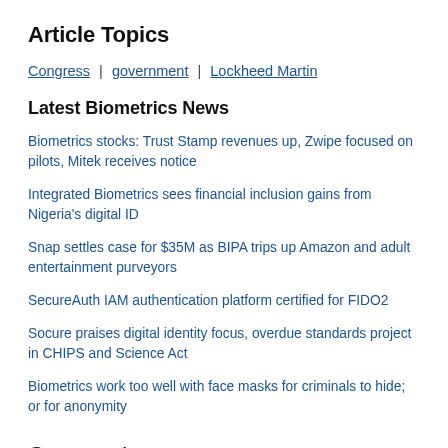Article Topics
Congress | government | Lockheed Martin
Latest Biometrics News
Biometrics stocks: Trust Stamp revenues up, Zwipe focused on pilots, Mitek receives notice
Integrated Biometrics sees financial inclusion gains from Nigeria's digital ID
Snap settles case for $35M as BIPA trips up Amazon and adult entertainment purveyors
SecureAuth IAM authentication platform certified for FIDO2
Socure praises digital identity focus, overdue standards project in CHIPS and Science Act
Biometrics work too well with face masks for criminals to hide; or for anonymity
Comments